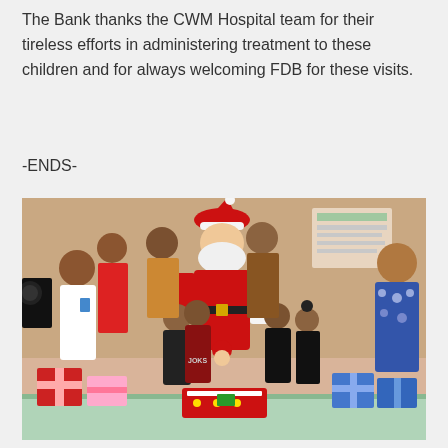The Bank thanks the CWM Hospital team for their tireless efforts in administering treatment to these children and for always welcoming FDB for these visits.
-ENDS-
[Figure (photo): A person dressed as Santa Claus distributing gifts to children at what appears to be CWM Hospital. Hospital staff and other adults are present in the background. Wrapped presents and a decorated cake are visible on a table in the foreground.]